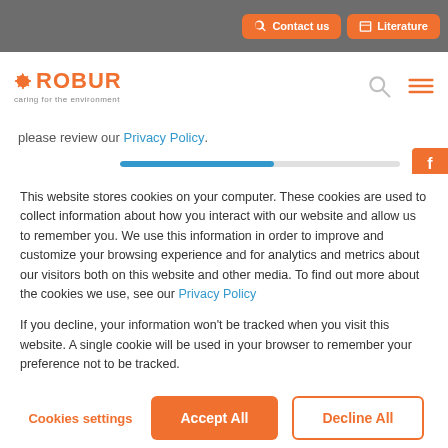Contact us  Literature
[Figure (logo): Robur logo with gear icon and tagline 'caring for the environment', orange color]
please review our Privacy Policy.
This website stores cookies on your computer. These cookies are used to collect information about how you interact with our website and allow us to remember you. We use this information in order to improve and customize your browsing experience and for analytics and metrics about our visitors both on this website and other media. To find out more about the cookies we use, see our Privacy Policy
If you decline, your information won't be tracked when you visit this website. A single cookie will be used in your browser to remember your preference not to be tracked.
Cookies settings  Accept All  Decline All